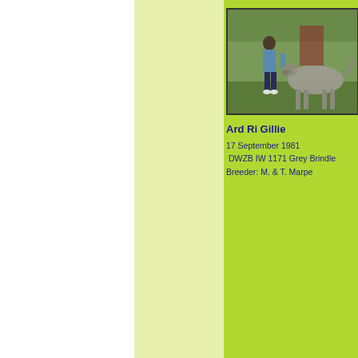[Figure (photo): Outdoor photo of a person standing next to a large Irish Wolfhound dog on grass, with trees and a red structure in the background.]
Ard Ri Gillie
17 September 1981
 DWZB IW 1171 Grey Brindle
Breeder: M. & T. Marpe